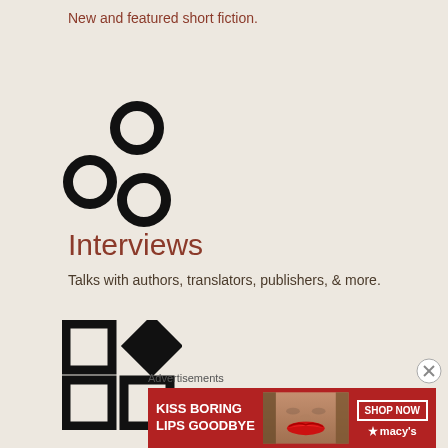New and featured short fiction.
[Figure (illustration): Three hollow circles arranged in a triangular cluster — one top-right, one bottom-left, one bottom-right — forming a logo icon]
Interviews
Talks with authors, translators, publishers, & more.
[Figure (illustration): Four shapes in a 2x2 grid: top-left square outline, top-right diamond (rotated square solid), bottom-left square outline, bottom-right square outline — forming a logo icon]
Advertisements
[Figure (photo): Macy's advertisement banner: red background with white bold text 'KISS BORING LIPS GOODBYE', a woman's face with red lips in the center, and a 'SHOP NOW' button with the Macy's star logo on the right]